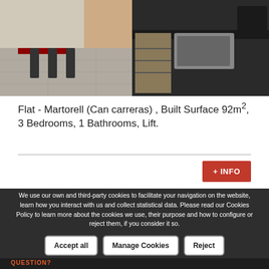[Figure (photo): Interior photo of a modern kitchen with black countertops, stainless steel sink, bar stools, and tiled floor]
Flat - Martorell (Can carreras) , Built Surface 92m², 3 Bedrooms, 1 Bathrooms, Lift.
+ INFO
We use our own and third-party cookies to facilitate your navigation on the website, learn how you interact with us and collect statistical data. Please read our Cookies Policy to learn more about the cookies we use, their purpose and how to configure or reject them, if you consider it so.
Accept all
Manage Cookies
Reject
QUESTION?